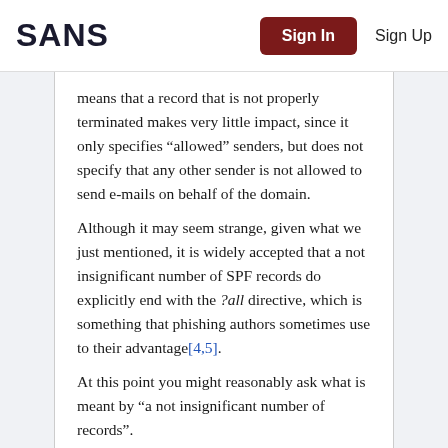SANS  Sign In  Sign Up
means that a record that is not properly terminated makes very little impact, since it only specifies “allowed” senders, but does not specify that any other sender is not allowed to send e-mails on behalf of the domain.
Although it may seem strange, given what we just mentioned, it is widely accepted that a not insignificant number of SPF records do explicitly end with the ?all directive, which is something that phishing authors sometimes use to their advantage[4,5].
At this point you might reasonably ask what is meant by “a not insignificant number of records”.